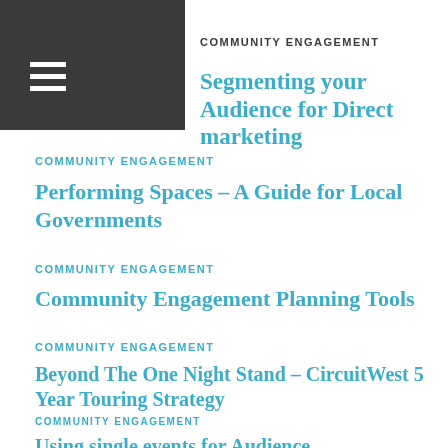COMMUNITY ENGAGEMENT
Segmenting your Audience for Direct marketing
COMMUNITY ENGAGEMENT
Performing Spaces – A Guide for Local Governments
COMMUNITY ENGAGEMENT
Community Engagement Planning Tools
COMMUNITY ENGAGEMENT
Beyond The One Night Stand – CircuitWest 5 Year Touring Strategy
COMMUNITY ENGAGEMENT
Using single events for Audience Development